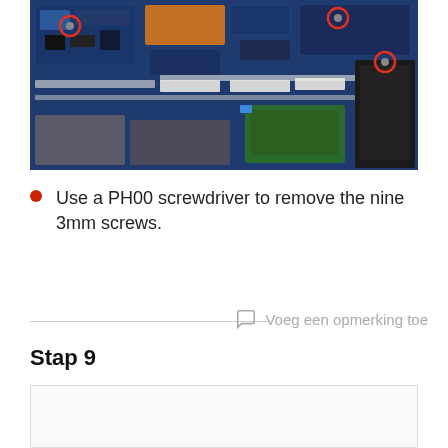[Figure (photo): Close-up photo of a laptop motherboard interior with red circles indicating three screw locations to be removed with a PH00 screwdriver.]
Use a PH00 screwdriver to remove the nine 3mm screws.
Voeg een opmerking toe
Stap 9
[Figure (photo): Image area for Step 9 (partially visible, content not shown).]